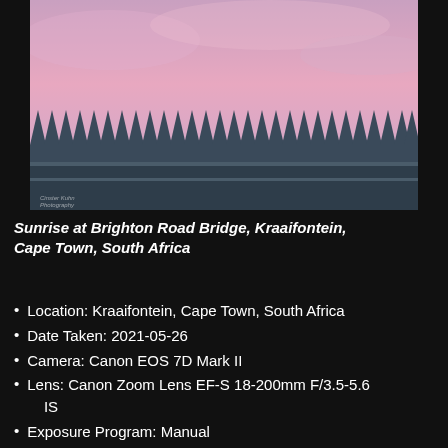[Figure (photo): Photograph of a spiked metal fence silhouetted against a pink and purple sunrise sky at Brighton Road Bridge, Kraaifontein, Cape Town, South Africa. Watermark text reads 'Cinster Kuhn Photography' in the lower left.]
Sunrise at Brighton Road Bridge, Kraaifontein, Cape Town, South Africa
Location: Kraaifontein, Cape Town, South Africa
Date Taken: 2021-05-26
Camera: Canon EOS 7D Mark II
Lens: Canon Zoom Lens EF-S 18-200mm F/3.5-5.6 IS
Exposure Program: Manual
F-Stop: f/5.6
Exposure Time: 1/50 sec